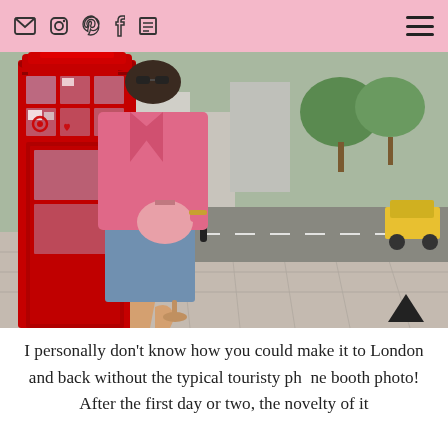Navigation bar with social icons (email, instagram, pinterest, facebook, blog) and hamburger menu
[Figure (photo): A person in a pink coat posing inside a red London telephone booth on a London street, with urban street scene visible in background including bollards, a yellow taxi, and trees.]
I personally don't know how you could make it to London and back without the typical touristy phone booth photo! After the first day or two, the novelty of it